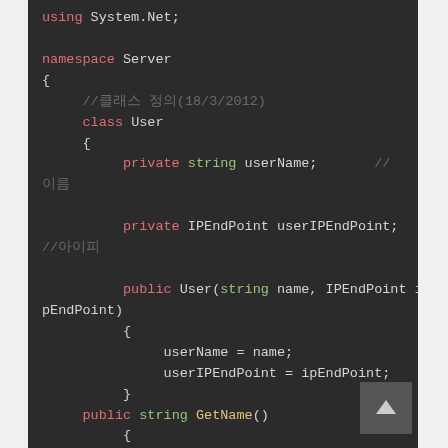[Figure (screenshot): Dark-themed code editor showing C# code for a User class with namespace Server, private fields userName and userIPEndPoint, a constructor, GetName() and GetIPEndPoint() methods. Keywords colored in pink/red (private, public, class, namespace, return), type names in green (string, GetName, GetIPEndPoint), comments in gray.]